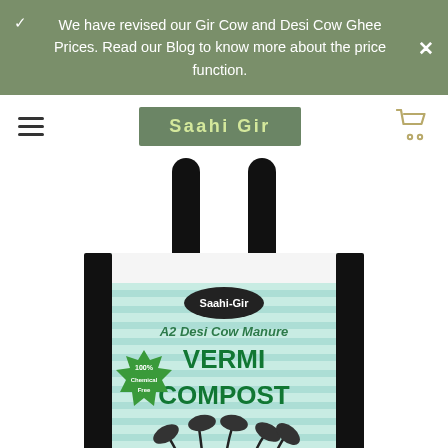We have revised our Gir Cow and Desi Cow Ghee Prices. Read our Blog to know more about the price function.
Saahi Gir
[Figure (photo): A shopping bag with black handles labeled 'Saahi-Gir A2 Desi Cow Manure VERMI COMPOST' with green and white design, showing seedlings at the bottom and a green burst badge saying '100% Chemical Free'.]